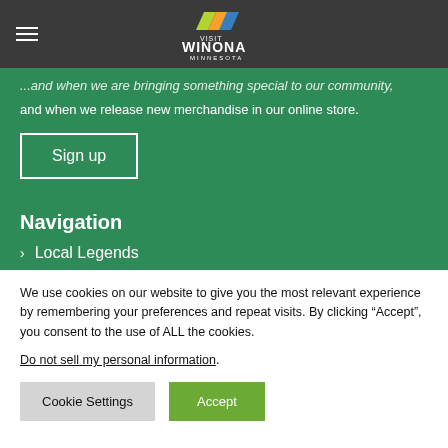Visit Winona Minnesota
and when we release new merchandise in our online store.
Sign up
Navigation
Local Legends
We use cookies on our website to give you the most relevant experience by remembering your preferences and repeat visits. By clicking “Accept”, you consent to the use of ALL the cookies.
Do not sell my personal information.
Cookie Settings   Accept